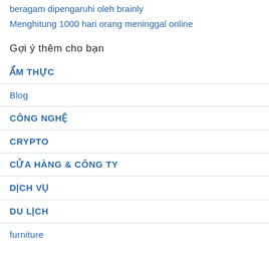beragam dipengaruhi oleh brainly
Menghitung 1000 hari orang meninggal online
Gợi ý thêm cho bạn
ẨM THỰC
Blog
CÔNG NGHỆ
CRYPTO
CỬA HÀNG & CÔNG TY
DỊCH VỤ
DU LỊCH
furniture